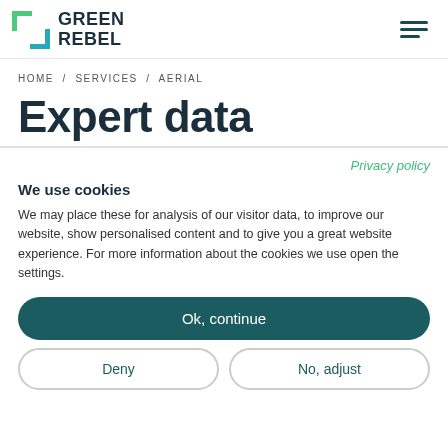[Figure (logo): Green Rebel logo with teal/green square bracket icon and bold text GREEN REBEL]
HOME / SERVICES / AERIAL
Expert data
Privacy policy
We use cookies
We may place these for analysis of our visitor data, to improve our website, show personalised content and to give you a great website experience. For more information about the cookies we use open the settings.
Ok, continue
Deny
No, adjust